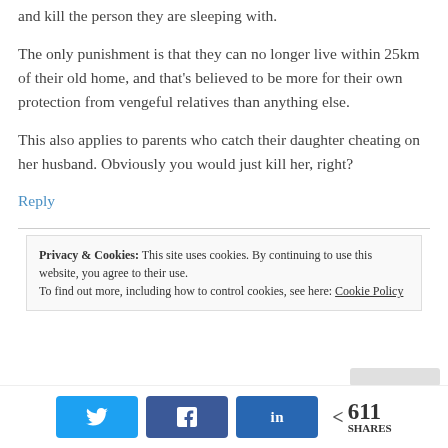and kill the person they are sleeping with.
The only punishment is that they can no longer live within 25km of their old home, and that's believed to be more for their own protection from vengeful relatives than anything else.
This also applies to parents who catch their daughter cheating on her husband. Obviously you would just kill her, right?
Reply
Privacy & Cookies: This site uses cookies. By continuing to use this website, you agree to their use. To find out more, including how to control cookies, see here: Cookie Policy
611 SHARES (Twitter, Facebook, LinkedIn share buttons)